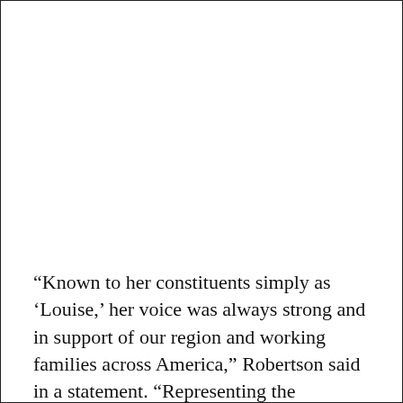“Known to her constituents simply as ‘Louise,’ her voice was always strong and in support of our region and working families across America,” Robertson said in a statement. “Representing the hometown of Susan B. Anthony, Congresswoman Slaughter has